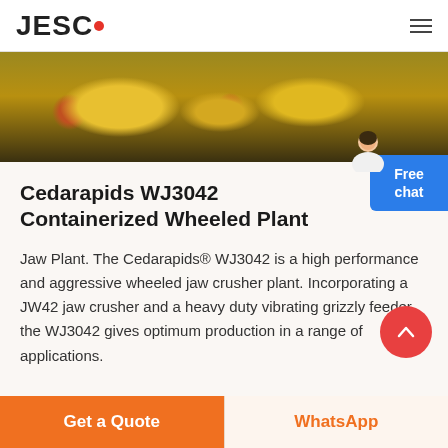JESCO
[Figure (photo): Yellow industrial jaw crusher machine components viewed from close up, showing yellow painted metal parts and cylindrical rollers on a dark background]
Cedarapids WJ3042 Containerized Wheeled Plant
Jaw Plant. The Cedarapids® WJ3042 is a high performance and aggressive wheeled jaw crusher plant. Incorporating a JW42 jaw crusher and a heavy duty vibrating grizzly feeder, the WJ3042 gives optimum production in a range of applications.
Get a Quote | WhatsApp